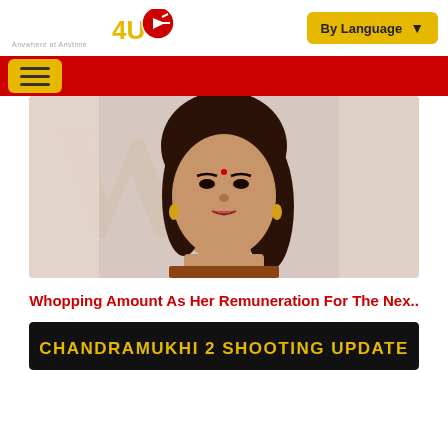NETTV4U - Anywhere at Anytime | By Language
[Figure (logo): NETTV4U logo with tagline 'Anywhere at Anytime' and red circular icon]
[Figure (photo): Woman (actress Nayanthara) standing in front of a light background, wearing traditional jewelry]
Whopping Amount As Her Remuneration For The Nex..
[Figure (screenshot): Black banner with gold text reading 'CHANDRAMUKHI 2 SHOOTING UPDATE']